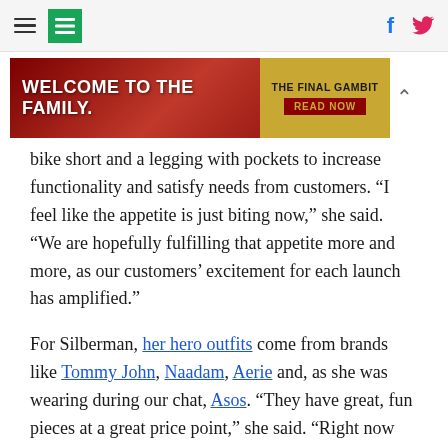[HuffPost navigation header with hamburger menu, logo, Facebook and Twitter icons]
[Figure (photo): Advertisement banner: 'WELCOME TO THE FAMILY.' on red background with 'THE FINAL GAMBIT / READ NOW' in gold panel on right]
bike short and a legging with pockets to increase functionality and satisfy needs from customers. “I feel like the appetite is just biting now,” she said. “We are hopefully fulfilling that appetite more and more, as our customers’ excitement for each launch has amplified.”
For Silberman, her hero outfits come from brands like Tommy John, Naadam, Aerie and, as she was wearing during our chat, Asos. “They have great, fun pieces at a great price point,” she said. “Right now I’m wearing a hot orange tank top and matching hot